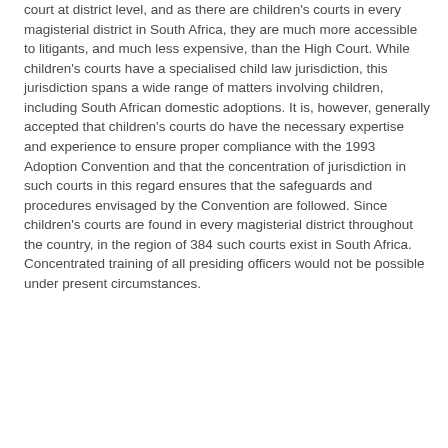court at district level, and as there are children's courts in every magisterial district in South Africa, they are much more accessible to litigants, and much less expensive, than the High Court. While children's courts have a specialised child law jurisdiction, this jurisdiction spans a wide range of matters involving children, including South African domestic adoptions. It is, however, generally accepted that children's courts do have the necessary expertise and experience to ensure proper compliance with the 1993 Adoption Convention and that the concentration of jurisdiction in such courts in this regard ensures that the safeguards and procedures envisaged by the Convention are followed. Since children's courts are found in every magisterial district throughout the country, in the region of 384 such courts exist in South Africa. Concentrated training of all presiding officers would not be possible under present circumstances.